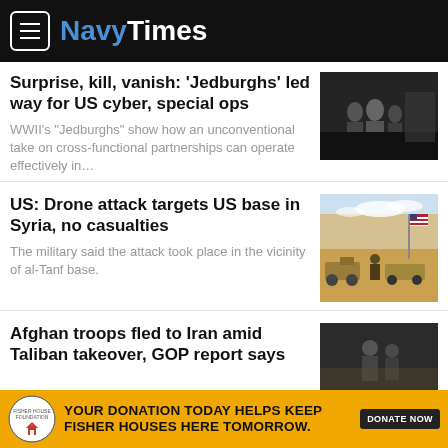NavyTimes
Surprise, kill, vanish: ‘Jedburghs’ led way for US cyber, special ops
WWII’s “Jedburghs” show how an unconventional take on cross-functional partnerships can operate effectively in…
[Figure (photo): Black and white historical photo of soldiers, likely WWII era]
US: Drone attack targets US base in Syria, no casualties
The military said the attack took place in the vicinity of al-Tanf base.
[Figure (photo): Color photo of military vehicles in a desert setting with US flag]
Afghan troops fled to Iran amid Taliban takeover, GOP report says
[Figure (photo): Dark image, partially cropped]
YOUR DONATION TODAY HELPS KEEP FISHER HOUSES HERE TOMORROW.